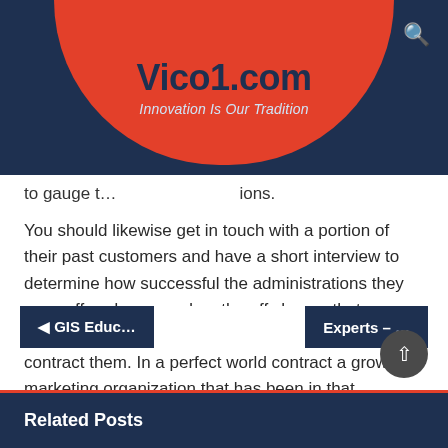Vico1.com — Innovation Is Our Tradition
to gauge th... ...ions.
You should likewise get in touch with a portion of their past customers and have a short interview to determine how successful the administrations they were offered were and on the off chance that you are happy with the outcomes, you can continue to contract them. In a perfect world contract a growth marketing organization that has been in that business for a lot of time since they will have the required experience that can enable your business to get a decent number of customers.
◄ GIS Educ... | Experts – ... | Related Posts